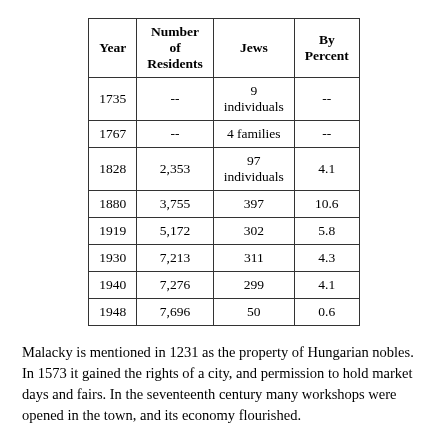| Year | Number of Residents | Jews | By Percent |
| --- | --- | --- | --- |
| 1735 | -- | 9 individuals | -- |
| 1767 | -- | 4 families | -- |
| 1828 | 2,353 | 97 individuals | 4.1 |
| 1880 | 3,755 | 397 | 10.6 |
| 1919 | 5,172 | 302 | 5.8 |
| 1930 | 7,213 | 311 | 4.3 |
| 1940 | 7,276 | 299 | 4.1 |
| 1948 | 7,696 | 50 | 0.6 |
Malacky is mentioned in 1231 as the property of Hungarian nobles. In 1573 it gained the rights of a city, and permission to hold market days and fairs. In the seventeenth century many workshops were opened in the town, and its economy flourished.